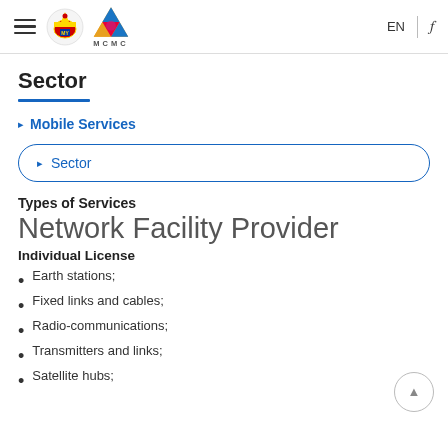MCMC - Malaysian Communications and Multimedia Commission header with navigation EN and search
Sector
Mobile Services
Sector
Types of Services
Network Facility Provider
Individual License
Earth stations;
Fixed links and cables;
Radio-communications;
Transmitters and links;
Satellite hubs;